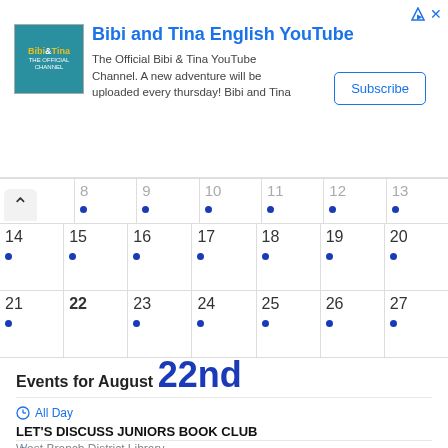[Figure (screenshot): Ad banner for Bibi and Tina English YouTube channel with logo, description text, and Subscribe button]
| 8• | 9• | 10• | 11• | 12• | 13• |
| 14• | 15• | 16• | 17• | 18• | 19• | 20• |
| 21• | 22 | 23• | 24• | 25• | 26• | 27• |
Events for August 22nd
All Day
LET'S DISCUSS JUNIORS BOOK CLUB
West Branch District Library
All Day
EUCHRE TOURNAMENT